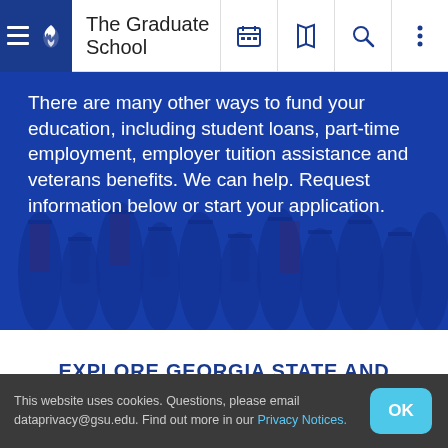The Graduate School
[Figure (photo): Hero image of graduating students in caps and gowns with a dark blue overlay, overlaid with text about funding options.]
There are many other ways to fund your education, including student loans, part-time employment, employer tuition assistance and veterans benefits. We can help. Request information below or start your application.
EXPLORE GEORGIA STATE AND NATIONAL RESOURCES
This website uses cookies. Questions, please email dataprivacy@gsu.edu. Find out more in our Privacy Notices.